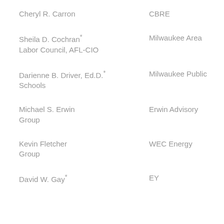Cheryl R. Carron — CBRE
Sheila D. Cochran* — Milwaukee Area Labor Council, AFL-CIO
Darienne B. Driver, Ed.D.* — Milwaukee Public Schools
Michael S. Erwin — Erwin Advisory Group
Kevin Fletcher — WEC Energy Group
David W. Gay* — EY